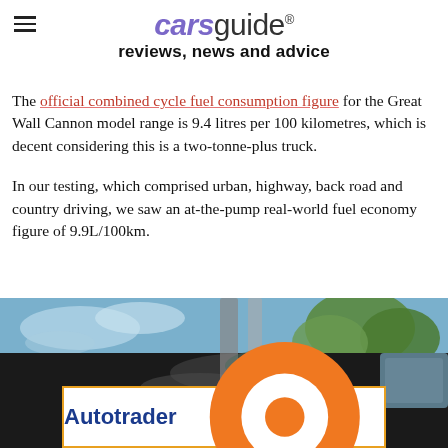carsguide® reviews, news and advice
The official combined cycle fuel consumption figure for the Great Wall Cannon model range is 9.4 litres per 100 kilometres, which is decent considering this is a two-tonne-plus truck.
In our testing, which comprised urban, highway, back road and country driving, we saw an at-the-pump real-world fuel economy figure of 9.9L/100km.
[Figure (photo): Close-up photo of a vehicle's exterior black body panel and mirror, with trees and blue sky reflected, with an Autotrader advertisement banner overlay at the bottom.]